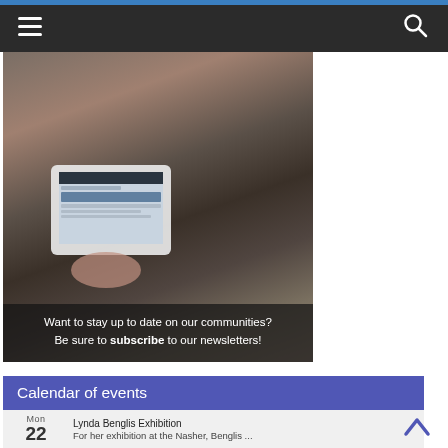Navigation bar with hamburger menu and search icon
[Figure (photo): Person holding a tablet displaying a news website (Park Cities People). Person is seated in a chair. Text overlay reads: 'Want to stay up to date on our communities? Be sure to subscribe to our newsletters!']
Calendar of events
Mon 22 — Lynda Benglis Exhibition — For her exhibition at the Nasher, Benglis ...